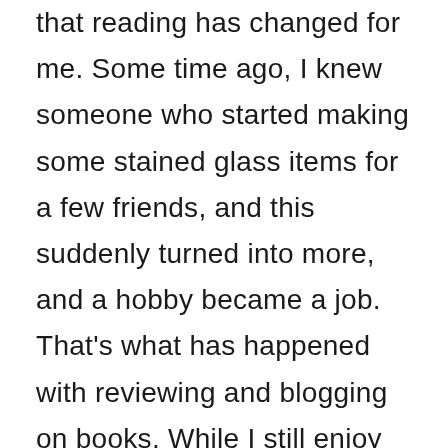that reading has changed for me. Some time ago, I knew someone who started making some stained glass items for a few friends, and this suddenly turned into more, and a hobby became a job. That's what has happened with reviewing and blogging on books. While I still enjoy it, especially when I can put on some good music with a good beverage at my side, reading often seems a bit more like work. I'm aware of the pile awaiting review as well as books I've purchased that I wanted to read. I'm thinking about what books I'll finish for review in the coming week. And I spend time keeping track of and